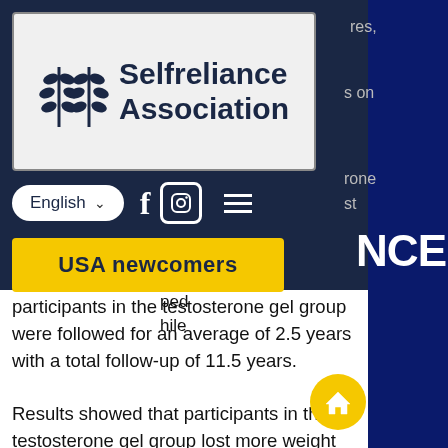[Figure (logo): Selfreliance Association logo with stylized bird/wheat icon and bold navy text]
English (dropdown)
USA newcomers
participants in the testosterone gel group were followed for an average of 2.5 years with a total follow-up of 11.5 years.
Results showed that participants in the testosterone gel group lost more weight over the 2 years, and had a larger increase in BMI, suggesting that testosterone could decrease body fatness and improve insulin sensitivity, losing weight for clomid.